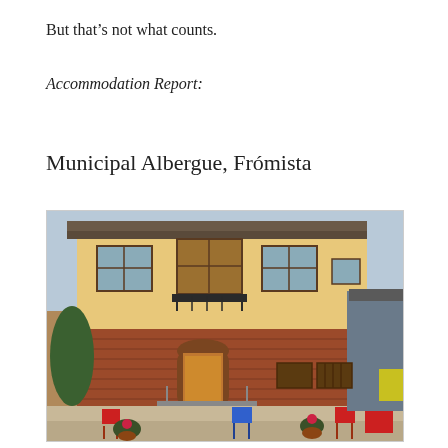But that’s not what counts.
Accommodation Report:
Municipal Albergue, Frómista
[Figure (photo): Exterior view of the Municipal Albergue in Frómista, showing a two-storey building with yellow/cream upper walls and red brick lower walls, wooden windows with a balcony, outdoor seating area with red and blue chairs, potted plants and flowers in the foreground.]